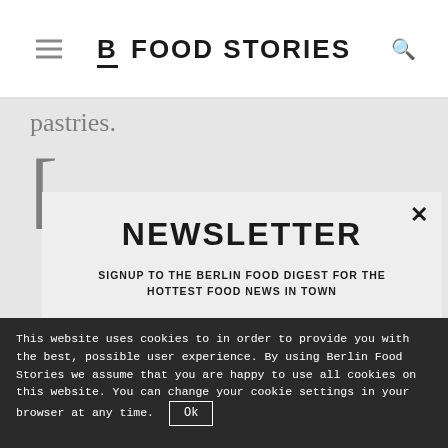B FOOD STORIES
pastries.
NEWSLETTER
SIGNUP TO THE BERLIN FOOD DIGEST FOR THE HOTTEST FOOD NEWS IN TOWN
YOUR EMAIL ADDRESS...
SIGNUP
This website uses cookies to in order to provide you with the best, possible user experience. By using Berlin Food Stories we assume that you are happy to use all cookies on this website. You can change your cookie settings in your browser at any time.
Ok